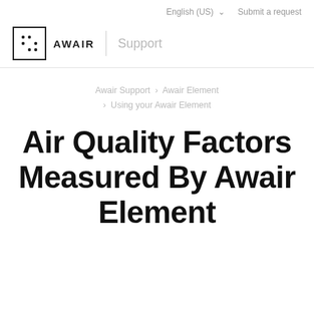English (US)  ∨    Submit a request
[Figure (logo): Awair logo: a square border icon with dot pattern representing air quality sensors, followed by bold text AWAIR, a vertical divider, and the word Support in light gray]
Awair Support › Awair Element › Using your Awair Element
Air Quality Factors Measured By Awair Element